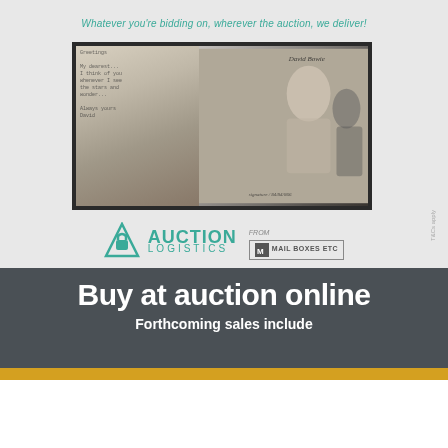Whatever you're bidding on, wherever the auction, we deliver!
[Figure (photo): Framed auction item showing what appears to be a David Bowie memorabilia collage — handwritten text/letter on the left panel and a portrait photograph on the right panel, with signatures visible]
[Figure (logo): Auction Logistics from Mail Boxes Etc logo — teal triangle/lock icon with AUCTION LOGISTICS text in teal, followed by 'from' and Mail Boxes Etc logo in a bordered box]
T&Cs apply
Buy at auction online
Forthcoming sales include
Cadmore Auctions
Jewellery, Watches, Militaria, Antiques & Collectables